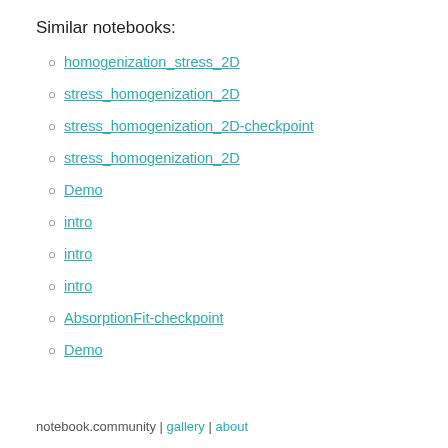Similar notebooks:
homogenization_stress_2D
stress_homogenization_2D
stress_homogenization_2D-checkpoint
stress_homogenization_2D
Demo
intro
intro
intro
AbsorptionFit-checkpoint
Demo
notebook.community | gallery | about